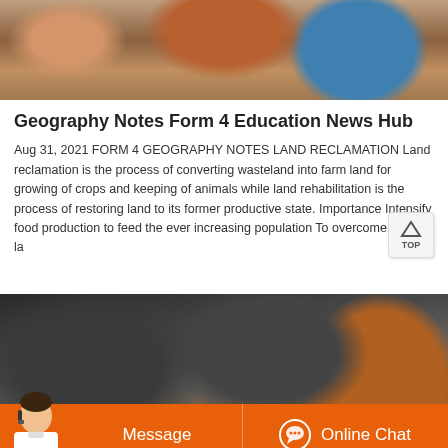[Figure (photo): Top photo showing construction/industrial site with orange and blue equipment]
Geography Notes Form 4 Education News Hub
Aug 31, 2021 FORM 4 GEOGRAPHY NOTES LAND RECLAMATION Land reclamation is the process of converting wasteland into farm land for growing of crops and keeping of animals while land rehabilitation is the process of restoring land to its former productive state. Importance Intensify food production to feed the ever increasing population To overcome la
[Figure (photo): Bottom photo showing industrial machinery, ball mill equipment in a factory setting]
[Figure (other): Chat bar with Message and Online Chat buttons, and customer service agent illustration]